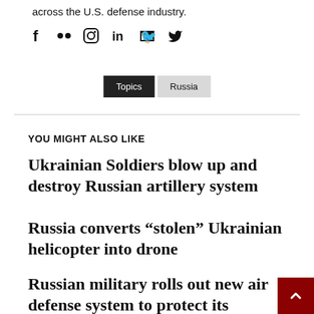across the U.S. defense industry.
[Figure (other): Social media icons: Facebook, Flickr, Instagram, LinkedIn, Twitter]
Topics   Russia
YOU MIGHT ALSO LIKE
Ukrainian Soldiers blow up and destroy Russian artillery system
Russia converts “stolen” Ukrainian helicopter into drone
Russian military rolls out new air defense system to protect its airbase